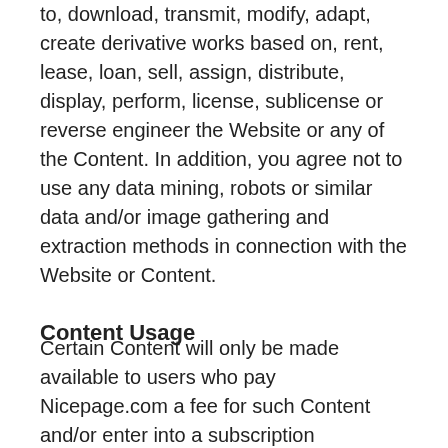to, download, transmit, modify, adapt, create derivative works based on, rent, lease, loan, sell, assign, distribute, display, perform, license, sublicense or reverse engineer the Website or any of the Content. In addition, you agree not to use any data mining, robots or similar data and/or image gathering and extraction methods in connection with the Website or Content.
Content Usage
Certain Content will only be made available to users who pay Nicepage.com a fee for such Content and/or enter into a subscription agreement or other use agreement for that particular Content. Unless you enter into a Agreement with